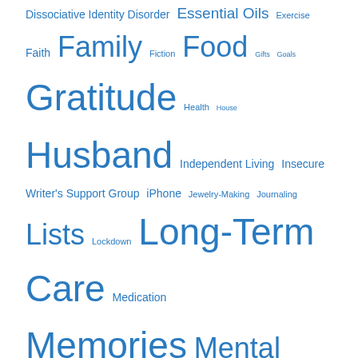[Figure (infographic): Tag cloud of blog/mental health topics in varying font sizes and blue color, including: Dissociative Identity Disorder, Essential Oils, Exercise, Faith, Family, Fiction, Food, Gifts, Goals, Gratitude, Health, House, Husband, Independent Living, Insecure Writer's Support Group, iPhone, Jewelry-Making, Journaling, Lists, Lockdown, Long-Term Care, Medication, Memories, Mental Health, Music, Nurse Practitioner, One-on-One Support, Parents, Polymer Clay, Psychiatric Hospital, Psychiatrist, PTSD, Questions, Reading, Sleep, Soap Making, Staff, Stream of Consciousness, Ten Things of Thankful, Topiramate, Trauma, Walking, Weather, Writing]
Privacy & Cookies: This site uses cookies. By continuing to use this website, you agree to their use. To find out more, including how to control cookies, see here: Cookie Policy